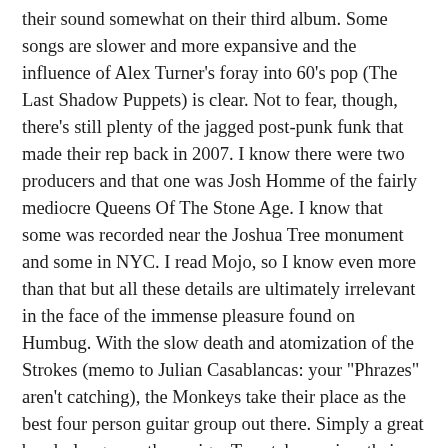their sound somewhat on their third album. Some songs are slower and more expansive and the influence of Alex Turner's foray into 60's pop (The Last Shadow Puppets) is clear. Not to fear, though, there's still plenty of the jagged post-punk funk that made their rep back in 2007. I know there were two producers and that one was Josh Homme of the fairly mediocre Queens Of The Stone Age. I know that some was recorded near the Joshua Tree monument and some in NYC. I read Mojo, so I know even more than that but all these details are ultimately irrelevant in the face of the immense pleasure found on Humbug. With the slow death and atomization of the Strokes (memo to Julian Casablancas: your "Phrazes" aren't catching), the Monkeys take their place as the best four person guitar group out there. Simply a great band - long may they reign. To catch up, view their "Web Transmission" here.
4. Mulatu Astatke & The Heliocentrics/Inspiration Information 3 - I first became aware of the wondrous world of Mulatu through a Studio 360 piece on the Either/Orchestra, who have devoted themselves to his music for the last few years. I downloaded the volume of Ethiopiques that features him and was sold. The sinuous melodies, Monk-like harmonies and stinging guitar licks are